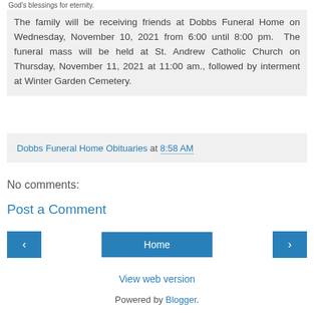God's blessings for eternity.
The family will be receiving friends at Dobbs Funeral Home on Wednesday, November 10, 2021 from 6:00 until 8:00 pm.  The funeral mass will be held at St. Andrew Catholic Church on Thursday, November 11, 2021 at 11:00 am., followed by interment at Winter Garden Cemetery.
Dobbs Funeral Home Obituaries at 8:58 AM
No comments:
Post a Comment
Home
View web version
Powered by Blogger.